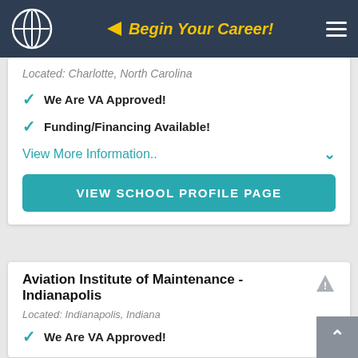Begin Your Career!
Located: Charlotte, North Carolina
We Are VA Approved!
Funding/Financing Available!
View More Information..
VIEW SCHOOL PROFILE PAGE
Aviation Institute of Maintenance - Indianapolis
Located: Indianapolis, Indiana
We Are VA Approved!